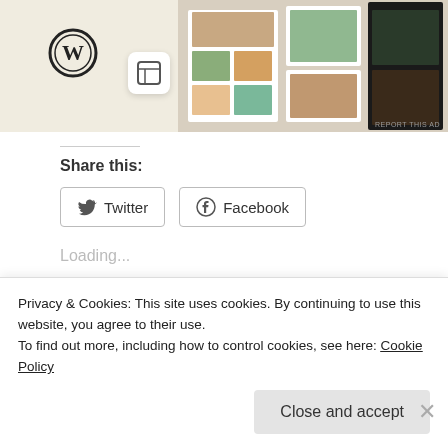[Figure (screenshot): Advertisement banner with WordPress logo, a square app icon, and food/recipe imagery on the right side. 'REPORT THIS AD' label at bottom right.]
Share this:
Twitter  Facebook
Loading...
Related
My character walked in and
The questionable 50,000
Privacy & Cookies: This site uses cookies. By continuing to use this website, you agree to their use.
To find out more, including how to control cookies, see here: Cookie Policy
Close and accept